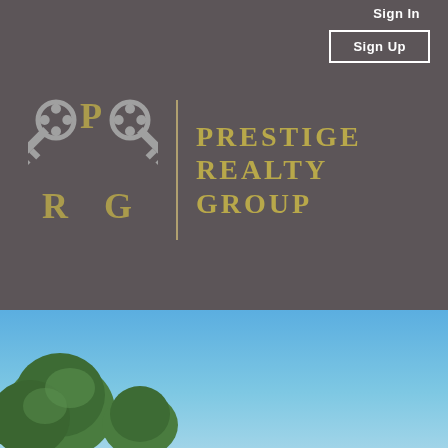Sign In
Sign Up
[Figure (logo): Prestige Realty Group logo with crossed keys and PRG monogram letters, gold and gray color scheme on dark gray background]
[Figure (photo): Outdoor scene with bright blue sky and green trees in lower left corner]